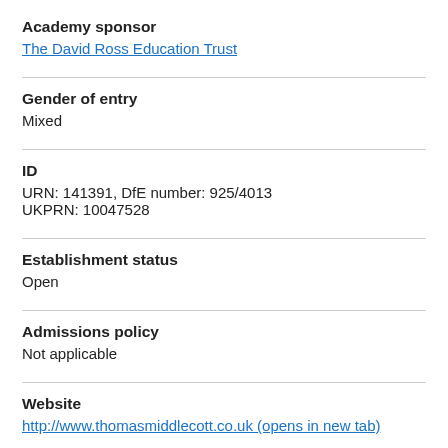Academy sponsor
The David Ross Education Trust
Gender of entry
Mixed
ID
URN: 141391, DfE number: 925/4013
UKPRN: 10047528
Establishment status
Open
Admissions policy
Not applicable
Website
http://www.thomasmiddlecott.co.uk (opens in new tab)